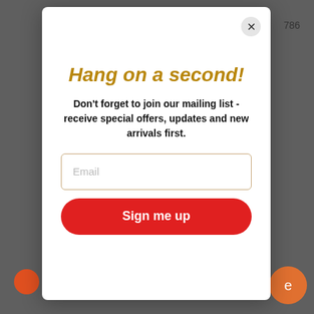[Figure (screenshot): Website background dimmed showing navigation bar with Facebook icon, hamburger menu, shopping bag icon, and number 786]
Hang on a second!
Don't forget to join our mailing list - receive special offers, updates and new arrivals first.
Email
Sign me up